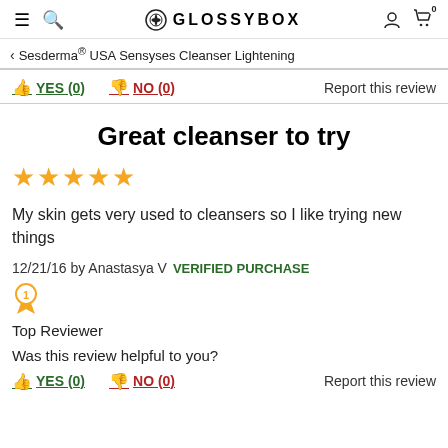≡  🔍  ⬤ GLOSSYBOX  👤  🛒 0
< Sesderma® USA Sensyses Cleanser Lightening
👍 YES (0)   👎 NO (0)   Report this review
Great cleanser to try
[Figure (other): 5 gold stars rating]
My skin gets very used to cleansers so I like trying new things
12/21/16 by Anastasya V  VERIFIED PURCHASE
[Figure (other): Gold badge icon with number 1]
Top Reviewer
Was this review helpful to you?
👍 YES (0)   👎 NO (0)   Report this review